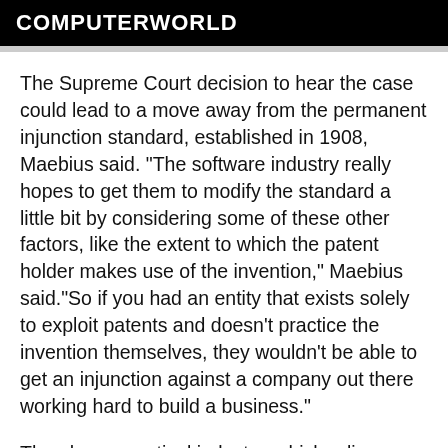COMPUTERWORLD
The Supreme Court decision to hear the case could lead to a move away from the permanent injunction standard, established in 1908, Maebius said. "The software industry really hopes to get them to modify the standard a little bit by considering some of these other factors, like the extent to which the patent holder makes use of the invention," Maebius said."So if you had an entity that exists solely to exploit patents and doesn't practice the invention themselves, they wouldn't be able to get an injunction against a company out there working hard to build a business."
The pharmaceutical industry, which relies on patents